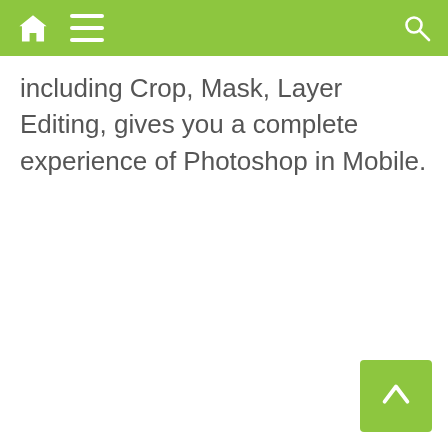Navigation bar with home, menu, and search icons
including Crop, Mask, Layer Editing, gives you a complete experience of Photoshop in Mobile.